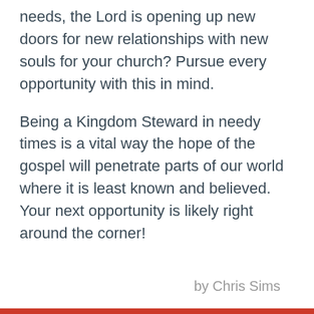needs, the Lord is opening up new doors for new relationships with new souls for your church? Pursue every opportunity with this in mind.
Being a Kingdom Steward in needy times is a vital way the hope of the gospel will penetrate parts of our world where it is least known and believed. Your next opportunity is likely right around the corner!
by Chris Sims